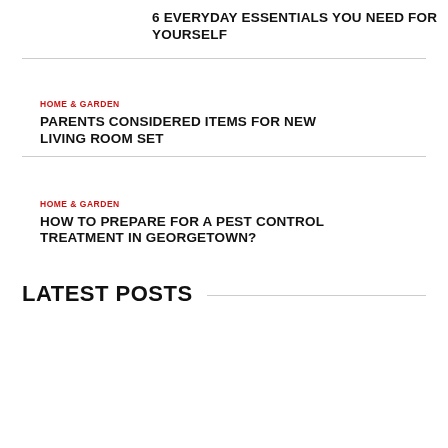6 EVERYDAY ESSENTIALS YOU NEED FOR YOURSELF
HOME & GARDEN
PARENTS CONSIDERED ITEMS FOR NEW LIVING ROOM SET
HOME & GARDEN
HOW TO PREPARE FOR A PEST CONTROL TREATMENT IN GEORGETOWN?
LATEST POSTS